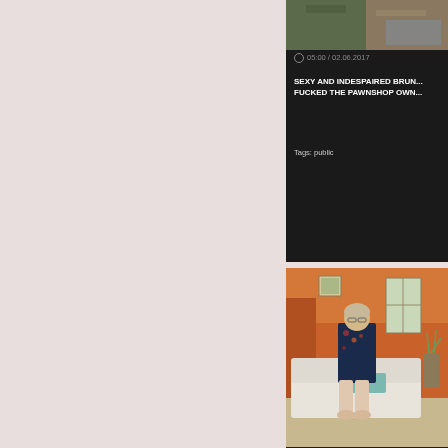[Figure (screenshot): Video thumbnail showing close-up at top of right panel]
05:00 / 02.06.2017
SEXY AND INDESPAIRED BRUNETTE FUCKED THE PAWNSHOP OWN...
Tags: public
[Figure (photo): Person sitting on white sofa in a room with orange walls]